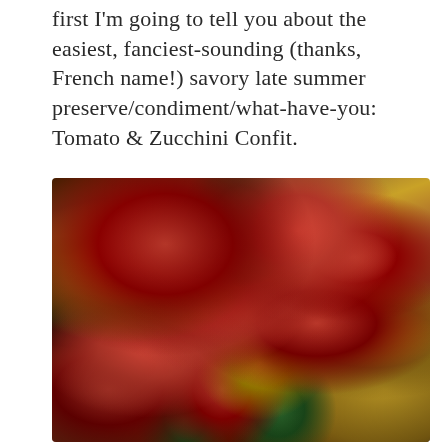first I'm going to tell you about the easiest, fanciest-sounding (thanks, French name!) savory late summer preserve/condiment/what-have-you: Tomato & Zucchini Confit.
[Figure (photo): Close-up photo of tomato and zucchini confit served on toasted bread slices (bruschetta/crostini). Shows bright red roasted cherry tomatoes, golden-brown toasted bread, braised zucchini pieces, and fresh green herb garnish, glistening with olive oil.]